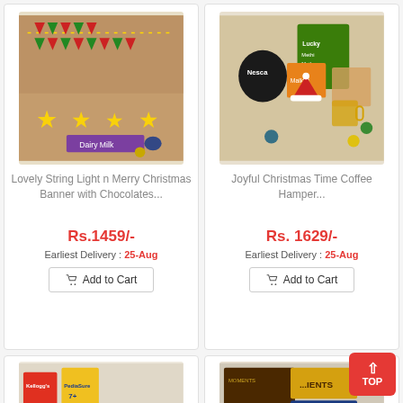[Figure (photo): Christmas decoration with Merry Christmas banner string lights stars and chocolates]
Lovely String Light n Merry Christmas Banner with Chocolates...
Rs.1459/-
Earliest Delivery : 25-Aug
Add to Cart
[Figure (photo): Christmas hamper with Nescafe coffee, Makhani biscuits, Santa hat, mugs, and snacks]
Joyful Christmas Time Coffee Hamper...
Rs. 1629/-
Earliest Delivery : 25-Aug
Add to Cart
[Figure (photo): Kids snack hamper with Kelloggs, PediaSure, 5Star, Amul, Oreo and other food products]
[Figure (photo): Premium gift hamper with Hersheys, Waffle Chips, Cornitos and other snacks with Santa toy]